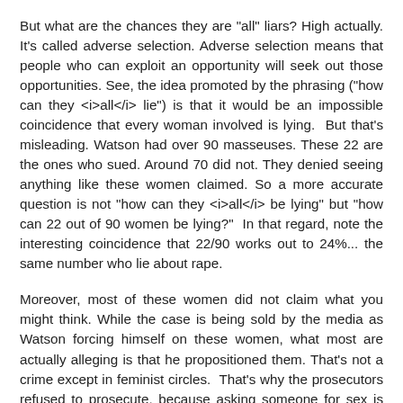But what are the chances they are "all" liars? High actually. It's called adverse selection. Adverse selection means that people who can exploit an opportunity will seek out those opportunities. See, the idea promoted by the phrasing ("how can they <i>all</i> lie") is that it would be an impossible coincidence that every woman involved is lying.  But that's misleading. Watson had over 90 masseuses. These 22 are the ones who sued. Around 70 did not. They denied seeing anything like these women claimed. So a more accurate question is not "how can they <i>all</i> be lying" but "how can 22 out of 90 women be lying?"  In that regard, note the interesting coincidence that 22/90 works out to 24%... the same number who lie about rape.
Moreover, most of these women did not claim what you might think. While the case is being sold by the media as Watson forcing himself on these women, what most are actually alleging is that he propositioned them. That's not a crime except in feminist circles.  That's why the prosecutors refused to prosecute, because asking someone for sex is not a crime.  Nor does it support claims of improper touching.